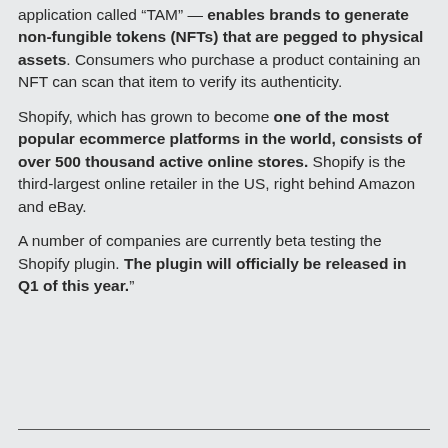application called "TAM" — enables brands to generate non-fungible tokens (NFTs) that are pegged to physical assets. Consumers who purchase a product containing an NFT can scan that item to verify its authenticity.
Shopify, which has grown to become one of the most popular ecommerce platforms in the world, consists of over 500 thousand active online stores. Shopify is the third-largest online retailer in the US, right behind Amazon and eBay.
A number of companies are currently beta testing the Shopify plugin. The plugin will officially be released in Q1 of this year."